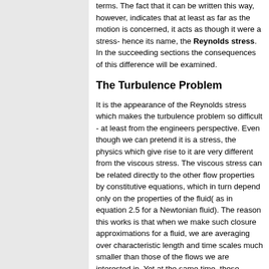terms. The fact that it can be written this way, however, indicates that at least as far as the motion is concerned, it acts as though it were a stress- hence its name, the Reynolds stress. In the succeeding sections the consequences of this difference will be examined.
The Turbulence Problem
It is the appearance of the Reynolds stress which makes the turbulence problem so difficult - at least from the engineers perspective. Even though we can pretend it is a stress, the physics which give rise to it are very different from the viscous stress. The viscous stress can be related directly to the other flow properties by constitutive equations, which in turn depend only on the properties of the fluid( as in equation 2.5 for a Newtonian fluid). The reason this works is that when we make such closure approximations for a fluid, we are averaging over characteristic length and time scales much smaller than those of the flows we are interested in. Yet at the same time, these scales are much larger than the molecular